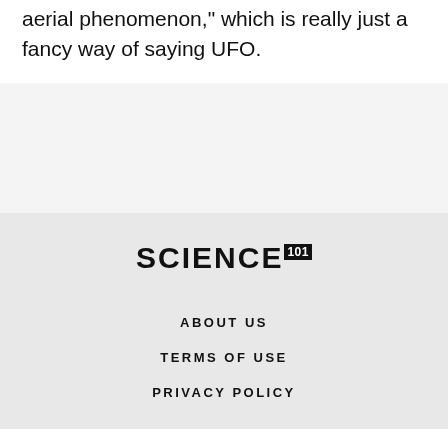aerial phenomenon," which is really just a fancy way of saying UFO.
[Figure (logo): SCIENCE101 logo with '101' in a black box superscript]
ABOUT US
TERMS OF USE
PRIVACY POLICY